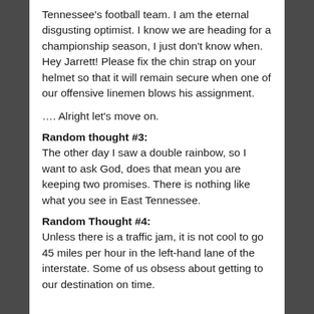Tennessee's football team.  I am the eternal disgusting optimist.  I know we are heading for a championship season, I just don't know when.  Hey Jarrett!  Please fix the chin strap on your helmet so that it will remain secure when one of our offensive linemen blows his assignment.
…. Alright let's move on.
Random thought #3:
The other day I saw a double rainbow, so I want to ask God, does that mean you are keeping two promises.  There is nothing like what you see in East Tennessee.
Random Thought #4:
Unless there is a traffic jam, it is not cool to go 45 miles per hour in the left-hand lane of the interstate.  Some of us obsess about getting to our destination on time.